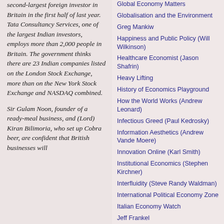second-largest foreign investor in Britain in the first half of last year. Tata Consultancy Services, one of the largest Indian investors, employs more than 2,000 people in Britain. The government thinks there are 23 Indian companies listed on the London Stock Exchange, more than on the New York Stock Exchange and NASDAQ combined.
Sir Gulam Noon, founder of a ready-meal business, and (Lord) Kiran Bilimoria, who set up Cobra beer, are confident that [British businesses will…]
Global Economy Matters
Globalisation and the Environment
Greg Mankiw
Happiness and Public Policy (Will Wilkinson)
Healthcare Economist (Jason Shafrin)
Heavy Lifting
History of Economics Playground
How the World Works (Andrew Leonard)
Infectious Greed (Paul Kedrosky)
Information Aesthetics (Andrew Vande Moere)
Innovation Online (Karl Smith)
Institutional Economics (Stephen Kirchner)
Interfluidity (Steve Randy Waldman)
International Political Economy Zone
Italian Economy Watch
Jeff Frankel
Johan Norberg
John Quiggin
Kalimna (Harry Clarke)
Knowing and Making
Knowledge Problem (Lynne Kiesling)